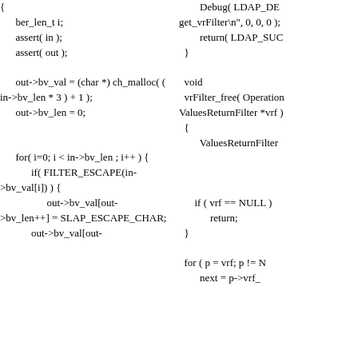Left column code: { ber_len_t i; assert( in ); assert( out ); out->bv_val = (char *) ch_malloc( ( in->bv_len * 3 ) + 1 ); out->bv_len = 0; for( i=0; i < in->bv_len ; i++ ) { if( FILTER_ESCAPE(in->bv_val[i]) ) { out->bv_val[out->bv_len++] = SLAP_ESCAPE_CHAR; out->bv_val[out-
Right column code: Debug( LDAP_DE get_vrFilter\n", 0, 0, 0 ); return( LDAP_SUC } void vrFilter_free( Operation ValuesReturnFilter *vrf ) { ValuesReturnFilter if ( vrf == NULL ) { return; } for ( p = vrf; p != N next = p->vrf_